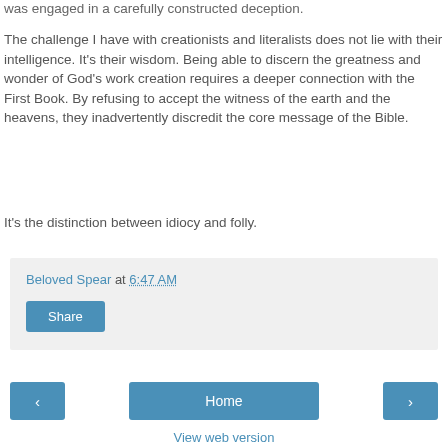was engaged in a carefully constructed deception.
The challenge I have with creationists and literalists does not lie with their intelligence. It's their wisdom. Being able to discern the greatness and wonder of God's work creation requires a deeper connection with the First Book. By refusing to accept the witness of the earth and the heavens, they inadvertently discredit the core message of the Bible.
It's the distinction between idiocy and folly.
Beloved Spear at 6:47 AM
Share
Home
View web version
Powered by Blogger.